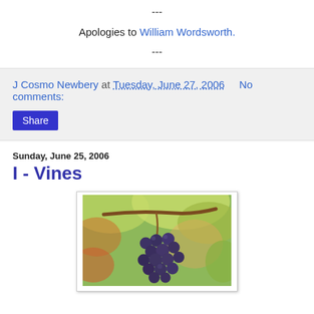---
Apologies to William Wordsworth.
---
J Cosmo Newbery at Tuesday, June 27, 2006   No comments:
Share
Sunday, June 25, 2006
I - Vines
[Figure (photo): A bunch of dark purple grapes hanging from a vine with green leaves in the background]